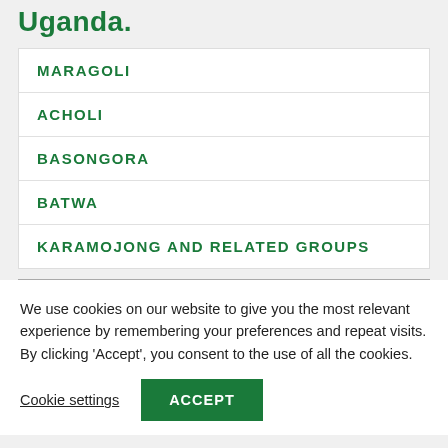Uganda.
MARAGOLI
ACHOLI
BASONGORA
BATWA
KARAMOJONG AND RELATED GROUPS
We use cookies on our website to give you the most relevant experience by remembering your preferences and repeat visits. By clicking 'Accept', you consent to the use of all the cookies.
Cookie settings
ACCEPT